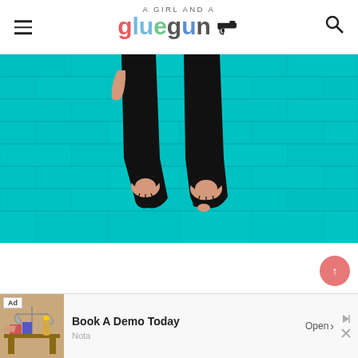A Girl and a Glue Gun
[Figure (photo): Lower half of person wearing ripped black jeans standing in front of a teal/turquoise painted brick wall. The knees of the jeans are torn showing skin underneath.]
[Figure (other): Pink circular scroll-to-top button with upward arrow in lower right corner]
[Figure (other): Ad banner at bottom: Ad label, image of legal/court scales, text 'Book A Demo Today', 'Nota', 'Open' button with arrow, close controls]